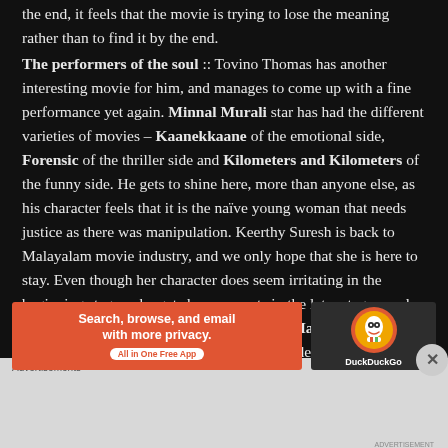the end, it feels that the movie is trying to lose the meaning rather than to find it by the end.

The performers of the soul :: Tovino Thomas has another interesting movie for him, and manages to come up with a fine performance yet again. Minnal Murali star has had the different varieties of movies – Kaanekkaane of the emotional side, Forensic of the thriller side and Kilometers and Kilometers of the funny side. He gets to shine here, more than anyone else, as his character feels that it is the naïve young woman that needs justice as there was manipulation. Keerthy Suresh is back to Malayalam movie industry, and we only hope that she is here to stay. Even though her character does seem irritating in the beginning stages, she gets her moments in the later stages, and finishes off really well – the dialogue from Maayanadhi is nicely used in her speech, providing a reminder that women often get
[Figure (infographic): DuckDuckGo advertisement banner: orange background with text 'Search, browse, and email with more privacy. All in One Free App' and DuckDuckGo logo on dark background]